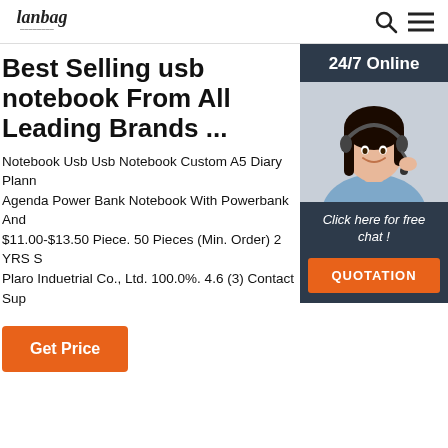Lanbag [logo] | search | menu
Best Selling usb notebook From All Leading Brands ...
Notebook Usb Usb Notebook Custom A5 Diary Plann Agenda Power Bank Notebook With Powerbank And $11.00-$13.50 Piece. 50 Pieces (Min. Order) 2 YRS S Plaro Induetrial Co., Ltd. 100.0%. 4.6 (3) Contact Sup
[Figure (other): Orange 'Get Price' button]
[Figure (photo): Sidebar showing '24/7 Online', a smiling woman with headset, 'Click here for free chat!' text, and orange QUOTATION button on dark navy background]